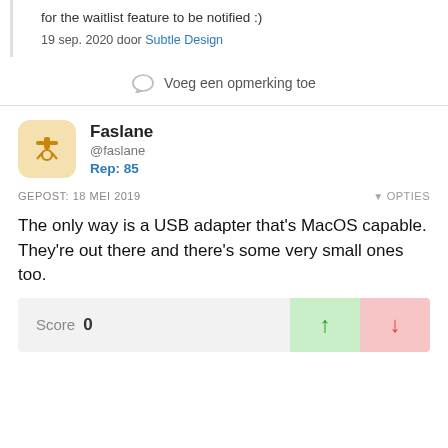for the waitlist feature to be notified :)
19 sep. 2020 door Subtle Design
Voeg een opmerking toe
Faslane @faslane Rep: 85
GEPOST: 18 MEI 2019
OPTIES
The only way is a USB adapter that's MacOS capable. They're out there and there's some very small ones too.
Score 0